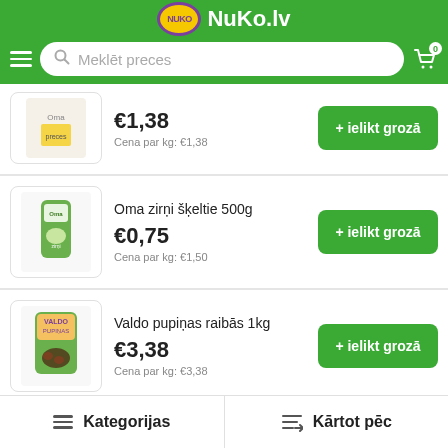NuKo.lv
Meklēt preces
[Figure (screenshot): Product listing item 1 - partially visible, price €1,38, Cena par kg: €1,38]
€1,38
Cena par kg: €1,38
Oma zirņi šķeltie 500g
€0,75
Cena par kg: €1,50
Valdo pupiņas raibās 1kg
€3,38
Cena par kg: €3,38
Kategorijas    Kārtot pēc